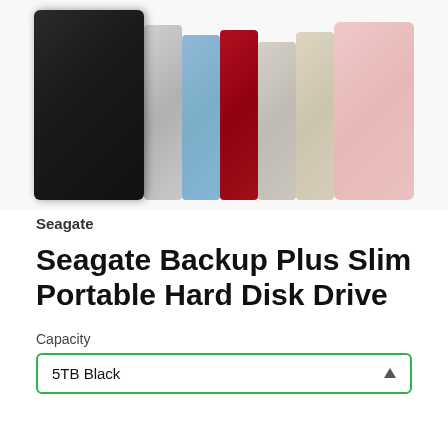[Figure (photo): Multiple Seagate Backup Plus Slim portable hard drives fanned out showing different color variants: black, silver, blue, red, beige/silver, and pink.]
Seagate
Seagate Backup Plus Slim Portable Hard Disk Drive
Capacity
5TB Black